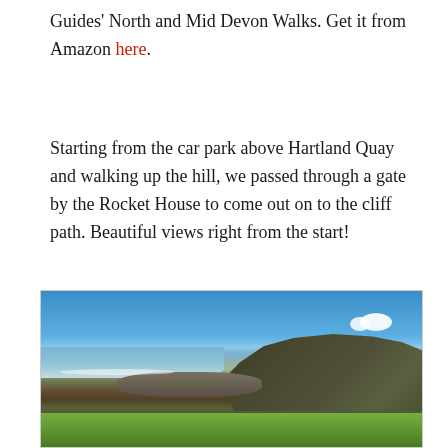Guides' North and Mid Devon Walks. Get it from Amazon here.
Starting from the car park above Hartland Quay and walking up the hill, we passed through a gate by the Rocket House to come out on to the cliff path. Beautiful views right from the start!
[Figure (photo): Coastal cliff landscape photo showing a rocky bay with waves, dramatic dark cliffs on the right, bright blue sky with a small white cloud, and green grass in the foreground. The scene appears to be Hartland Quay area in Devon, UK.]